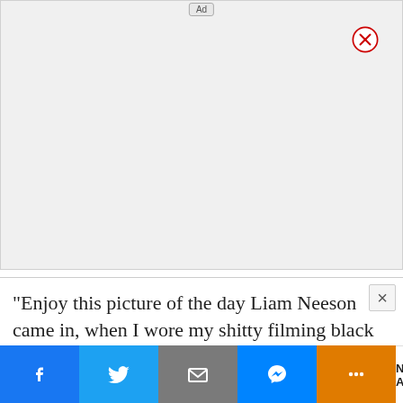[Figure (screenshot): Advertisement placeholder area with light gray background, an 'Ad' badge at the top center, and a red-bordered circle close button (X) at the top right]
“Enjoy this picture of the day Liam Neeson came in, when I wore my shitty filming black ×
[Figure (screenshot): Bottom social sharing toolbar with Facebook, Twitter, Email, Messenger, and More (...) buttons, plus a NEXT ARTICLE > button on the right]